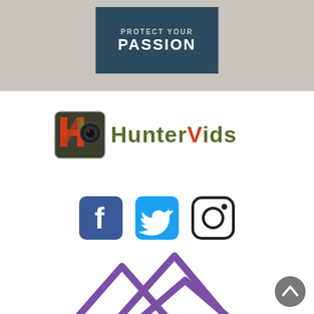[Figure (logo): Protect Your Passion banner on grey textured background — dark teal/navy rectangle with text 'PROTECT YOUR PASSION']
[Figure (logo): HunterVids logo: stylized KV camera icon in red/olive with text 'HunterVids' in olive and red]
[Figure (logo): Social media icons: Facebook (blue square with f), Twitter (light blue square with bird), Instagram (rounded square outline with camera)]
[Figure (illustration): Purple mountain peaks logo/illustration at bottom of page]
[Figure (other): Grey circular up-arrow navigation button in bottom right corner]